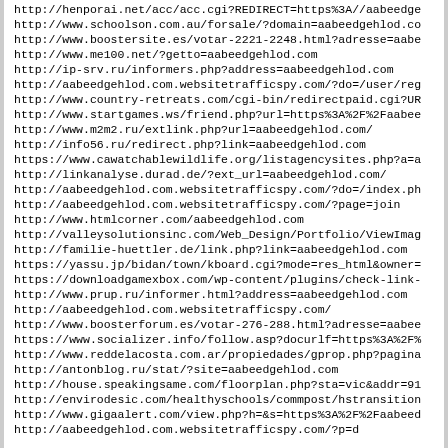http://henporai.net/acc/acc.cgi?REDIRECT=https%3A//aabeedge
http://www.schoolson.com.au/forsale/?domain=aabeedgehlod.co
http://www.boostersite.es/votar-2221-2248.html?adresse=aabe
http://www.me100.net/?getto=aabeedgehlod.com
http://ip-srv.ru/informers.php?address=aabeedgehlod.com
http://aabeedgehlod.com.websitetrafficspy.com/?do=/user/reg
http://www.country-retreats.com/cgi-bin/redirectpaid.cgi?UR
http://www.startgames.ws/friend.php?url=https%3A%2F%2Faabee
http://www.m2m2.ru/extlink.php?url=aabeedgehlod.com/
http://info56.ru/redirect.php?link=aabeedgehlod.com
https://www.cawatchablewildlife.org/listagencysites.php?a=a
http://linkanalyse.durad.de/?ext_url=aabeedgehlod.com/
http://aabeedgehlod.com.websitetrafficspy.com/?do=/index.ph
http://aabeedgehlod.com.websitetrafficspy.com/?page=join
http://www.htmlcorner.com/aabeedgehlod.com
http://valleysolutionsinc.com/Web_Design/Portfolio/ViewImag
http://familie-huettler.de/link.php?link=aabeedgehlod.com
https://yassu.jp/bidan/town/kboard.cgi?mode=res_html&owner=
https://downloadgamexbox.com/wp-content/plugins/check-link-
http://www.prup.ru/informer.html?address=aabeedgehlod.com
http://aabeedgehlod.com.websitetrafficspy.com/
http://www.boosterforum.es/votar-276-288.html?adresse=aabee
https://www.socializer.info/follow.asp?docurlf=https%3A%2F%
http://www.reddelacosta.com.ar/propiedades/gprop.php?pagina
http://antonblog.ru/stat/?site=aabeedgehlod.com
http://house.speakingsame.com/floorplan.php?sta=vic&addr=91
http://envirodesic.com/healthyschools/commpost/hstransition
http://www.gigaalert.com/view.php?h=&s=https%3A%2F%2Faabeed
http://aabeedgehlod.com.websitetrafficspy.com/?p=d